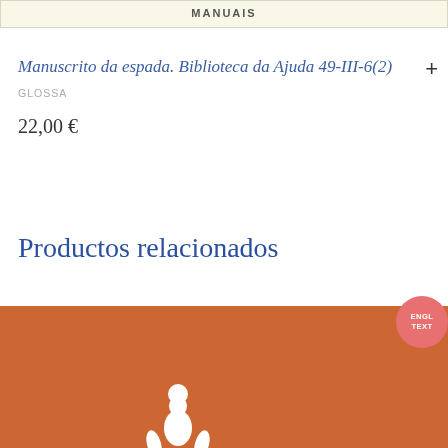MANUAIS
Manuscrito da espada. Biblioteca da Ajuda 49-III-6(2)
GLOSSA
22,00 €
Productos relacionados
[Figure (illustration): Orange/terracotta colored book cover illustration with a white decorative figure/motif at the bottom, and a partial circular badge in upper right reading ENGL... TEXT...]